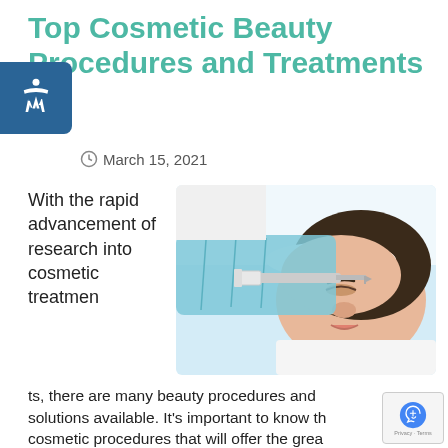Top Cosmetic Beauty Procedures and Treatments
March 15, 2021
With the rapid advancement of research into cosmetic treatments, there are many beauty procedures and solutions available. It's important to know the cosmetic procedures that will offer the greatest
[Figure (photo): A woman lying down receiving a cosmetic injection treatment near her nose/lip area, administered by a gloved practitioner. She wears a white headband and appears calm with eyes closed.]